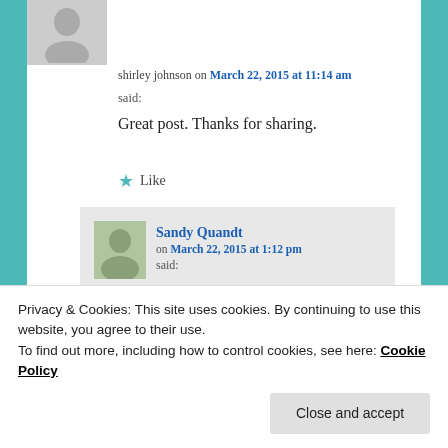[Figure (illustration): Gray avatar/silhouette placeholder image for user profile]
shirley johnson on March 22, 2015 at 11:14 am
said:
Great post. Thanks for sharing.
★ Like
[Figure (photo): Small profile photo of Sandy Quandt]
Sandy Quandt on March 22, 2015 at 1:12 pm said:
Thanks, Shirley. Need to keep pressing
Privacy & Cookies: This site uses cookies. By continuing to use this website, you agree to their use.
To find out more, including how to control cookies, see here: Cookie Policy
Close and accept